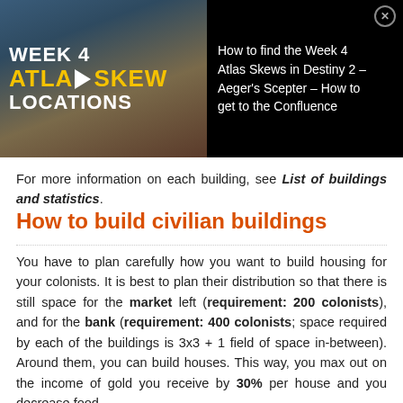[Figure (screenshot): Video thumbnail ad showing Week 4 Atlas Skew Locations with play button overlay, alongside title text: How to find the Week 4 Atlas Skews in Destiny 2 - Aeger's Scepter - How to get to the Confluence]
For more information on each building, see List of buildings and statistics.
How to build civilian buildings
You have to plan carefully how you want to build housing for your colonists. It is best to plan their distribution so that there is still space for the market left (requirement: 200 colonists), and for the bank (requirement: 400 colonists; space required by each of the buildings is 3x3 + 1 field of space in-between). Around them, you can build houses. This way, you max out on the income of gold you receive by 30% per house and you decrease food